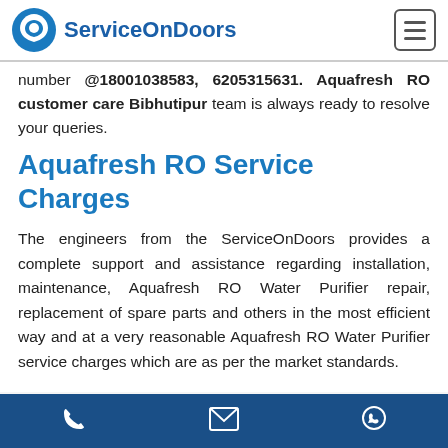ServiceOnDoors
number @18001038583, 6205315631. Aquafresh RO customer care Bibhutipur team is always ready to resolve your queries.
Aquafresh RO Service Charges
The engineers from the ServiceOnDoors provides a complete support and assistance regarding installation, maintenance, Aquafresh RO Water Purifier repair, replacement of spare parts and others in the most efficient way and at a very reasonable Aquafresh RO Water Purifier service charges which are as per the market standards.
phone | email | whatsapp